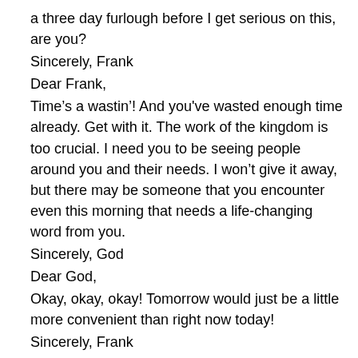a three day furlough before I get serious on this, are you?
Sincerely, Frank
Dear Frank,
Time’s a wastin’! And you've wasted enough time already. Get with it. The work of the kingdom is too crucial. I need you to be seeing people around you and their needs. I won’t give it away, but there may be someone that you encounter even this morning that needs a life-changing word from you.
Sincerely, God
Dear God,
Okay, okay, okay! Tomorrow would just be a little more convenient than right now today!
Sincerely, Frank
Dear Frank,
If you want convenience, stop by 7-11 on your drive in this